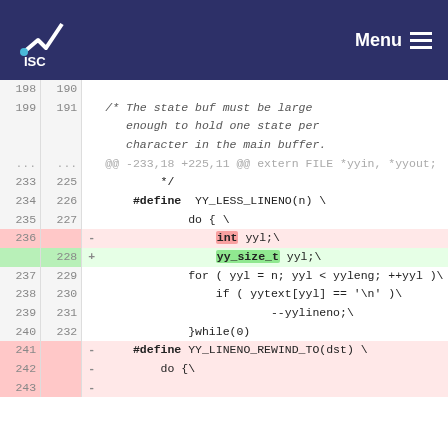ISC | Menu
[Figure (screenshot): Code diff view showing changes to a C source file, with line numbers, diff markers (+/-), and highlighted changed tokens (int -> yy_size_t). Lines 198-242 shown.]